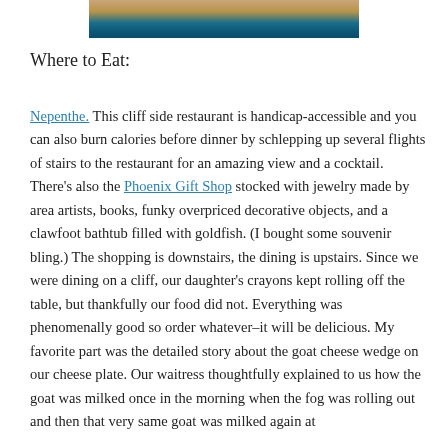[Figure (photo): Partial view of a coastal cliff scene with ocean water visible, cropped at top of page]
Where to Eat:
Nepenthe. This cliff side restaurant is handicap-accessible and you can also burn calories before dinner by schlepping up several flights of stairs to the restaurant for an amazing view and a cocktail. There’s also the Phoenix Gift Shop stocked with jewelry made by area artists, books, funky overpriced decorative objects, and a clawfoot bathtub filled with goldfish. (I bought some souvenir bling.) The shopping is downstairs, the dining is upstairs. Since we were dining on a cliff, our daughter’s crayons kept rolling off the table, but thankfully our food did not. Everything was phenomenally good so order whatever–it will be delicious. My favorite part was the detailed story about the goat cheese wedge on our cheese plate. Our waitress thoughtfully explained to us how the goat was milked once in the morning when the fog was rolling out and then that very same goat was milked again at